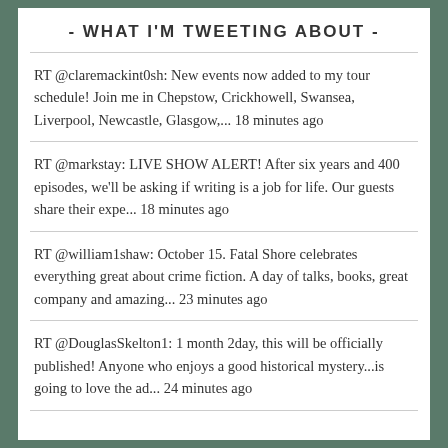- WHAT I'M TWEETING ABOUT -
RT @claremackint0sh: New events now added to my tour schedule! Join me in Chepstow, Crickhowell, Swansea, Liverpool, Newcastle, Glasgow,... 18 minutes ago
RT @markstay: LIVE SHOW ALERT! After six years and 400 episodes, we'll be asking if writing is a job for life. Our guests share their expe... 18 minutes ago
RT @william1shaw: October 15. Fatal Shore celebrates everything great about crime fiction. A day of talks, books, great company and amazing... 23 minutes ago
RT @DouglasSkelton1: 1 month 2day, this will be officially published! Anyone who enjoys a good historical mystery...is going to love the ad... 24 minutes ago